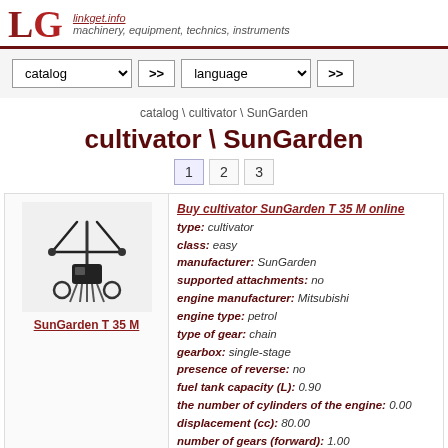LG linkget.info machinery, equipment, technics, instruments
[Figure (screenshot): Navigation bar with catalog dropdown, >> button, language dropdown, >> button]
catalog \ cultivator \ SunGarden
cultivator \ SunGarden
1  2  3
[Figure (photo): Photo of SunGarden T 35 M cultivator, a small garden tiller with handlebars and tines]
SunGarden T 35 M
Buy cultivator SunGarden T 35 M online
type: cultivator
class: easy
manufacturer: SunGarden
supported attachments: no
engine manufacturer: Mitsubishi
engine type: petrol
type of gear: chain
gearbox: single-stage
presence of reverse: no
fuel tank capacity (L): 0.90
the number of cylinders of the engine: 0.00
displacement (cc): 80.00
number of gears (forward): 1.00
number of gears (back): 0.00
type of traction: belt